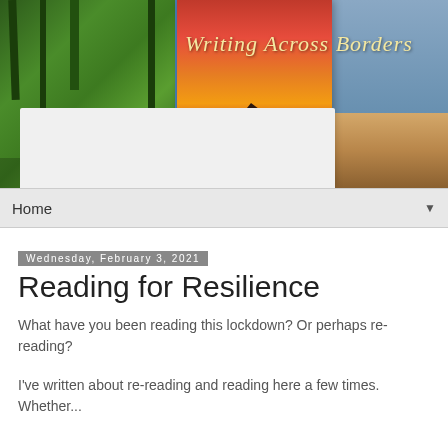[Figure (illustration): Website banner for 'Writing Across Borders' blog featuring three panels: a forest/cabin photo on the left, a stylized sunset illustration in the center, and a beach/coastal illustration on the right. The title 'Writing Across Borders' appears in script text over the center-right area.]
Home ▼
Wednesday, February 3, 2021
Reading for Resilience
What have you been reading this lockdown? Or perhaps re-reading?
I've written about re-reading and reading here a few times. Whether...